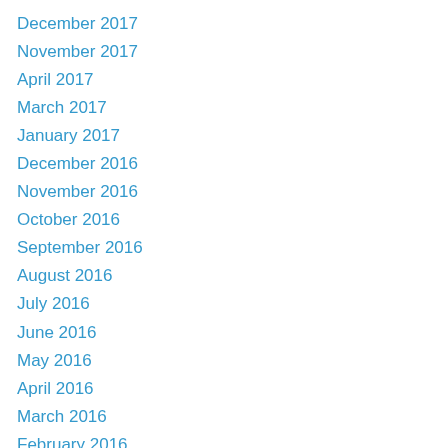December 2017
November 2017
April 2017
March 2017
January 2017
December 2016
November 2016
October 2016
September 2016
August 2016
July 2016
June 2016
May 2016
April 2016
March 2016
February 2016
January 2016
December 2015
November 2015
October 2015